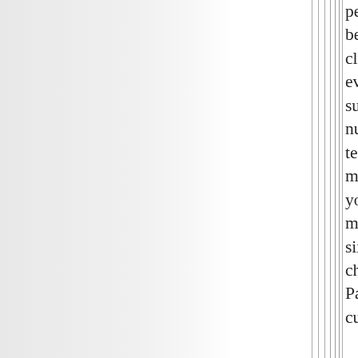persist indefinitely, because the middle-class will eventually refuse to support the huge numbers of births to teenage single mothers and other young and poor mothers with five, six, seven or more children. If the Tea Parties advocate cutting off all welfare